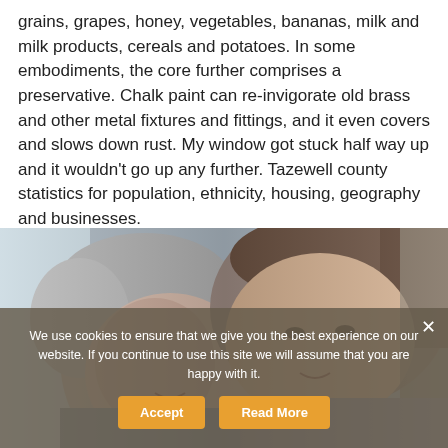grains, grapes, honey, vegetables, bananas, milk and milk products, cereals and potatoes. In some embodiments, the core further comprises a preservative. Chalk paint can re-invigorate old brass and other metal fixtures and fittings, and it even covers and slows down rust. My window got stuck half way up and it wouldn't go up any further. Tazewell county statistics for population, ethnicity, housing, geography and businesses.
[Figure (photo): Two women smiling together — one older with grey hair and one younger with brown hair pulled back, photographed close up]
We use cookies to ensure that we give you the best experience on our website. If you continue to use this site we will assume that you are happy with it.